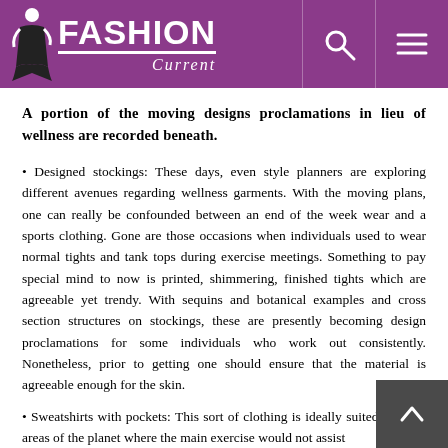Fashion Current
A portion of the moving designs proclamations in lieu of wellness are recorded beneath.
• Designed stockings: These days, even style planners are exploring different avenues regarding wellness garments. With the moving plans, one can really be confounded between an end of the week wear and a sports clothing. Gone are those occasions when individuals used to wear normal tights and tank tops during exercise meetings. Something to pay special mind to now is printed, shimmering, finished tights which are agreeable yet trendy. With sequins and botanical examples and cross section structures on stockings, these are presently becoming design proclamations for some individuals who work out consistently. Nonetheless, prior to getting one should ensure that the material is agreeable enough for the skin.
• Sweatshirts with pockets: This sort of clothing is ideally suited for cold areas of the planet where the main exercise would not assist